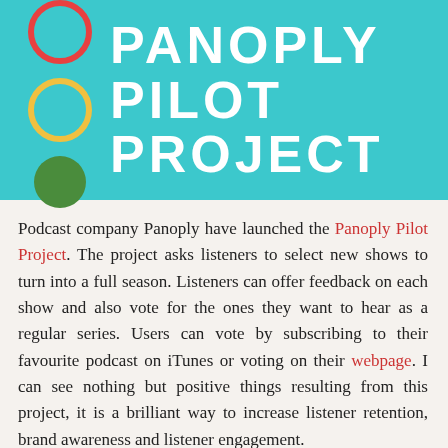[Figure (logo): Panoply Pilot Project logo on teal/cyan background with three circles (red outline, yellow outline, green filled) and white text reading PANOPLY PILOT PROJECT]
Podcast company Panoply have launched the Panoply Pilot Project. The project asks listeners to select new shows to turn into a full season. Listeners can offer feedback on each show and also vote for the ones they want to hear as a regular series. Users can vote by subscribing to their favourite podcast on iTunes or voting on their webpage. I can see nothing but positive things resulting from this project, it is a brilliant way to increase listener retention, brand awareness and listener engagement.
Items Researched